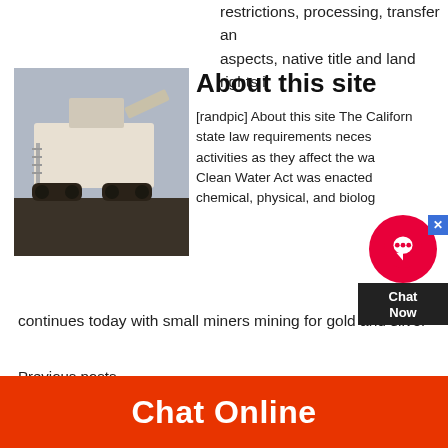restrictions, processing, transfer and aspects, native title and land rights i
About this site
[Figure (photo): Industrial mobile crushing plant/machinery on tracks at a mining site]
[randpic] About this site The Californ state law requirements neces activities as they affect the wa Clean Water Act was enacted chemical, physical, and biolog
continues today with small miners mining for gold and silver
Previous posts
Iron Ore Crushing Plant For Sale In Russia
Next posts
Granite Stone Crusher Used In Steel Plant In Sales
Chat Online